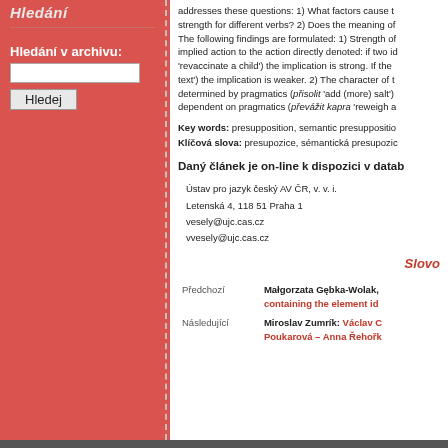Hledání v archivu:
addresses these questions: 1) What factors cause the strength for different verbs? 2) Does the meaning of The following findings are formulated: 1) Strength of implied action to the action directly denoted: if two id 'revaccinate a child') the implication is strong. If the text') the implication is weaker. 2) The character of t determined by pragmatics (přisolit 'add (more) salt') dependent on pragmatics (převážit kapra 'reweigh a
Key words: presupposition, semantic presuppositio Klíčová slova: presupozice, sémantická presupozic
Daný článek je on-line k dispozici v datab
Ústav pro jazyk český AV ČR, v. v. i.
Letenská 4, 118 51 Praha 1
vesely@ujc.cas.cz
vvesely@ujc.cas.cz
Slovo
Předchozí Małgorzata Gębka-Wolak, containing the element id
Následující Miroslav Zumrík: Václav C Poukarová – Anna Řehořk